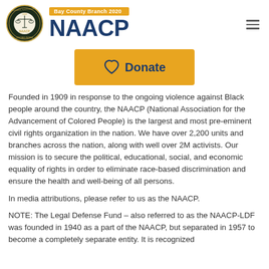[Figure (logo): NAACP Bay County Branch 2020 logo with circular seal and large NAACP text]
[Figure (other): Orange Donate button with heart icon]
Founded in 1909 in response to the ongoing violence against Black people around the country, the NAACP (National Association for the Advancement of Colored People) is the largest and most pre-eminent civil rights organization in the nation. We have over 2,200 units and branches across the nation, along with well over 2M activists. Our mission is to secure the political, educational, social, and economic equality of rights in order to eliminate race-based discrimination and ensure the health and well-being of all persons.
In media attributions, please refer to us as the NAACP.
NOTE: The Legal Defense Fund – also referred to as the NAACP-LDF was founded in 1940 as a part of the NAACP, but separated in 1957 to become a completely separate entity. It is recognized